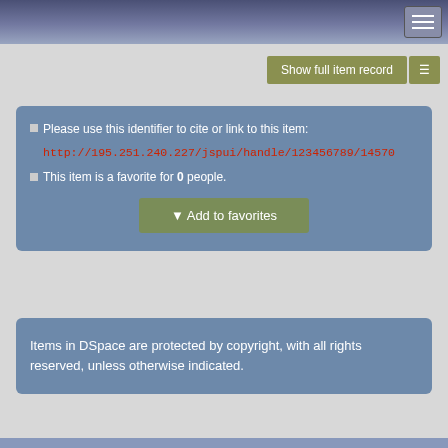[Figure (screenshot): Top navigation bar with hamburger menu icon button on the right]
[Figure (screenshot): Show full item record olive/green button with a small icon button beside it]
Please use this identifier to cite or link to this item: http://195.251.240.227/jspui/handle/123456789/14570
This item is a favorite for 0 people.
Add to favorites
Items in DSpace are protected by copyright, with all rights reserved, unless otherwise indicated.